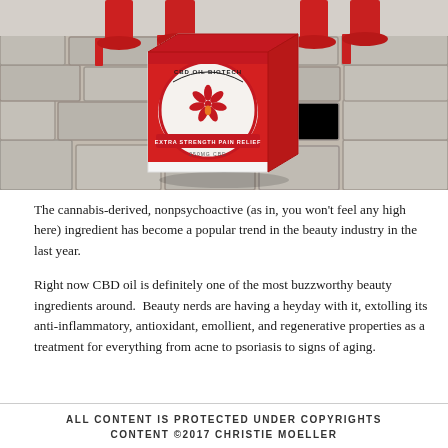[Figure (photo): A white and red CBD Oil Biotech Extra Strength Pain Relief box (250mg CBD) sitting on cobblestone pavement with red high heel shoes visible in the background.]
The cannabis-derived, nonpsychoactive (as in, you won't feel any high here) ingredient has become a popular trend in the beauty industry in the last year.
Right now CBD oil is definitely one of the most buzzworthy beauty ingredients around.  Beauty nerds are having a heyday with it, extolling its anti-inflammatory, antioxidant, emollient, and regenerative properties as a treatment for everything from acne to psoriasis to signs of aging.
ALL CONTENT IS PROTECTED UNDER COPYRIGHTS CONTENT ©2017 CHRISTIE MOELLER